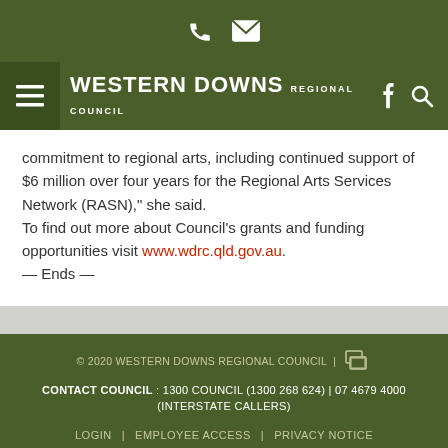Western Downs Regional Council — navigation header with phone and email icons, hamburger menu, logo, Facebook and search icons
commitment to regional arts, including continued support of $6 million over four years for the Regional Arts Services Network (RASN)," she said.
To find out more about Council's grants and funding opportunities visit www.wdrc.qld.gov.au.
— Ends —
© 2020 WESTERN DOWNS REGIONAL COUNCIL | CONTACT COUNCIL : 1300 COUNCIL (1300 268 624) | 07 4679 4000 (INTERSTATE CALLERS) LOGIN | EMPLOYEE ACCESS | PRIVACY NOTICE